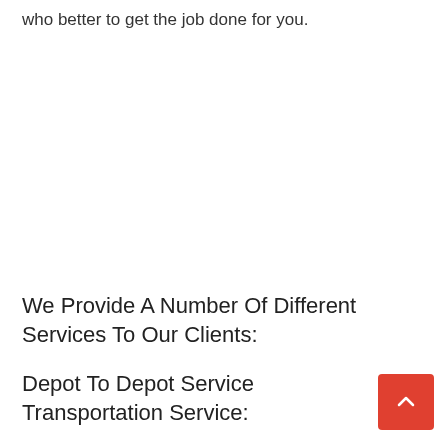who better to get the job done for you.
We Provide A Number Of Different Services To Our Clients:
Depot To Depot Service Transportation Service: